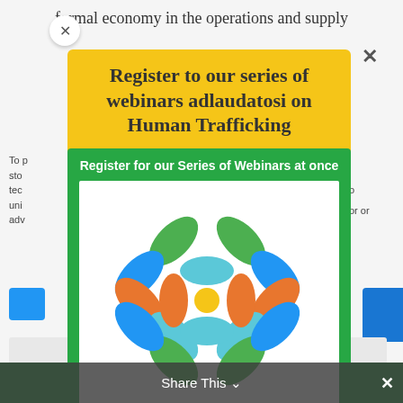formal economy in the operations and supply
To p…store…tech…uniq…adve…or or
[Figure (screenshot): Popup modal with yellow background showing 'Register to our series of webinars adlaudatosi on Human Trafficking' title, a green inner card with registration text, and a decorative logo made of colored leaf/petal shapes in green, blue, orange, and teal on white background with a yellow center circle.]
Register to our series of webinars adlaudatosi on Human Trafficking
Register for our Series of Webinars at once
INTERNATIONAL WEBINARS
Share This